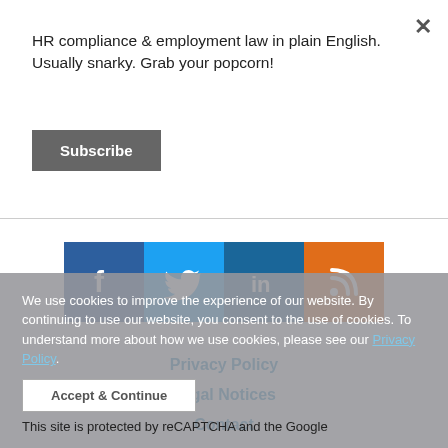HR compliance & employment law in plain English. Usually snarky. Grab your popcorn!
Subscribe
[Figure (infographic): Four social media icons: Facebook (blue), Twitter (light blue), LinkedIn (dark blue), RSS (orange)]
Privacy Policy
Legal Notices
Contact
Disclaimer
We use cookies to improve the experience of our website. By continuing to use our website, you consent to the use of cookies. To understand more about how we use cookies, please see our Privacy Policy.
Accept & Continue
This site is protected by reCAPTCHA and the Google